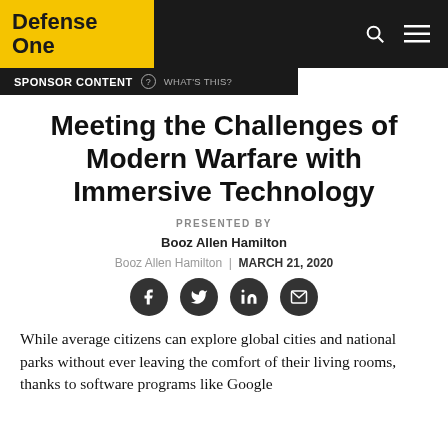Defense One
SPONSOR CONTENT  ⓘ  WHAT'S THIS?
Meeting the Challenges of Modern Warfare with Immersive Technology
PRESENTED BY
Booz Allen Hamilton
Booz Allen Hamilton  |  MARCH 21, 2020
[Figure (infographic): Social share icons: Facebook, Twitter, LinkedIn, Email]
While average citizens can explore global cities and national parks without ever leaving the comfort of their living rooms, thanks to software programs like Google